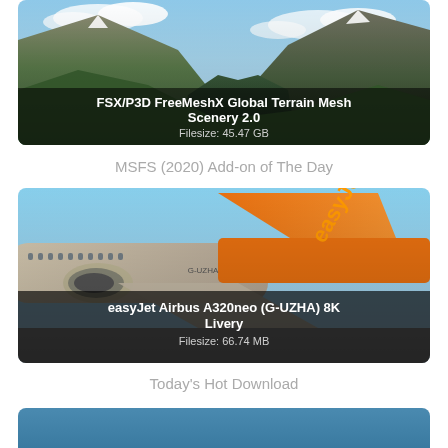[Figure (photo): Mountain valley scenery with green forested slopes and rocky peaks, used as card image for FSX/P3D FreeMeshX Global Terrain Mesh Scenery 2.0]
FSX/P3D FreeMeshX Global Terrain Mesh Scenery 2.0
Filesize: 45.47 GB
MSFS (2020) Add-on of The Day
[Figure (photo): easyJet Airbus A320neo aircraft tail section with orange livery and easyJet branding, registration G-UZHA]
easyJet Airbus A320neo (G-UZHA) 8K Livery
Filesize: 66.74 MB
Today's Hot Download
[Figure (photo): Partial view of another add-on card at bottom of page, cut off]